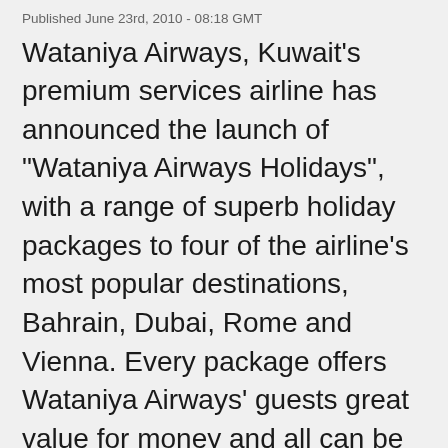Published June 23rd, 2010 - 08:18 GMT
Wataniya Airways, Kuwait's premium services airline has announced the launch of "Wataniya Airways Holidays", with a range of superb holiday packages to four of the airline's most popular destinations, Bahrain, Dubai, Rome and Vienna. Every package offers Wataniya Airways' guests great value for money and all can be tailor-made to ensure they perfectly suit each individuals requirements.
Lee Shave, Chief Commercial Officer, said: "Launching Wataniya Airways Holidays is yet another important milestone in Wataniya Airways' development. We are a young but fast growing airline with a strong commitment, not only to the business travel